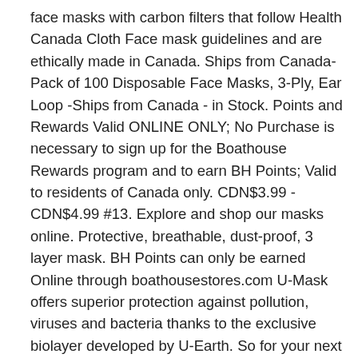face masks with carbon filters that follow Health Canada Cloth Face mask guidelines and are ethically made in Canada. Ships from Canada- Pack of 100 Disposable Face Masks, 3-Ply, Ear Loop -Ships from Canada - in Stock. Points and Rewards Valid ONLINE ONLY; No Purchase is necessary to sign up for the Boathouse Rewards program and to earn BH Points; Valid to residents of Canada only. CDN$3.99 - CDN$4.99 #13. Explore and shop our masks online. Protective, breathable, dust-proof, 3 layer mask. BH Points can only be earned Online through boathousestores.com U-Mask offers superior protection against pollution, viruses and bacteria thanks to the exclusive biolayer developed by U-Earth. So for your next trip to the grocery store, grab one of these made-in-Canada masks and do your part in more ways than one. Our top seller is the Canada Flag Mask. Get it by Sunday, Jan 3. Our masks are manufactured in BC, Canada using a medical fabric to form a protective barrier. Shop non-medical face masks at Cleo, intended as a face covering in public settings when social distancing is difficult to maintain. Final Sale - Masks are excluded from all promotions and discounts. With the coronavirus pandemic